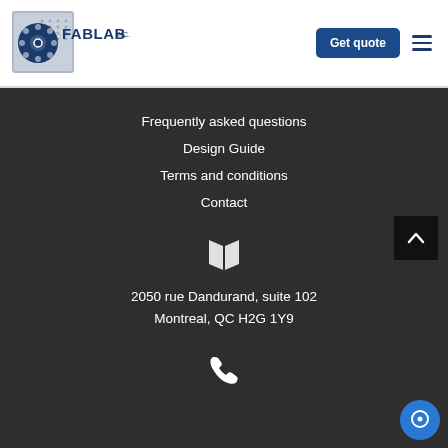[Figure (logo): FABLAB Inc. logo with film reel icon and grid background]
Get quote
Frequently asked questions
Design Guide
Terms and conditions
Contact
[Figure (illustration): Map/location icon in white]
2050 rue Dandurand, suite 102
Montreal, QC H2G 1Y9
[Figure (illustration): Phone icon in white]
[Figure (illustration): Back to top arrow button]
[Figure (illustration): Chat bubble icon in blue circle]